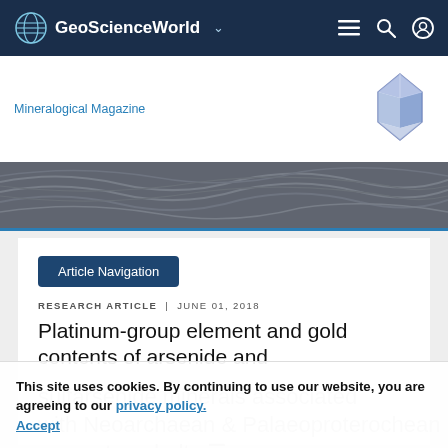GeoScienceWorld
[Figure (logo): Mineralogical Magazine logo with blue crystal icon and magazine name link]
[Figure (illustration): Decorative topographic contour band in dark grey]
Article Navigation
RESEARCH ARTICLE | JUNE 01, 2018
Platinum-group element and gold contents of arsenide and sulfarsenide minerals associated with Neoarchaean and Palaeoproterozoean greenstone belts
This site uses cookies. By continuing to use our website, you are agreeing to our privacy policy. Accept